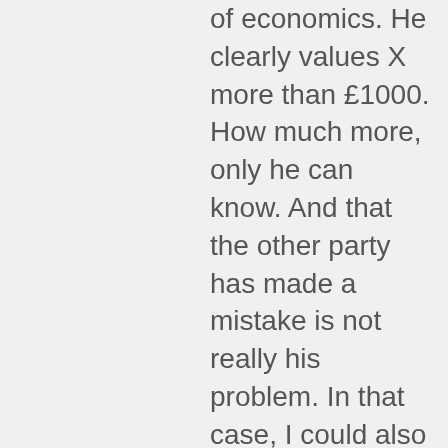of economics. He clearly values X more than £1000. How much more, only he can know. And that the other party has made a mistake is not really his problem. In that case, I could also demand my stock back, if it has gone up after I sold it.
“The pimp wants the income that the prostitutes will bring. If the prostitutes win the lottery, or whatever, they